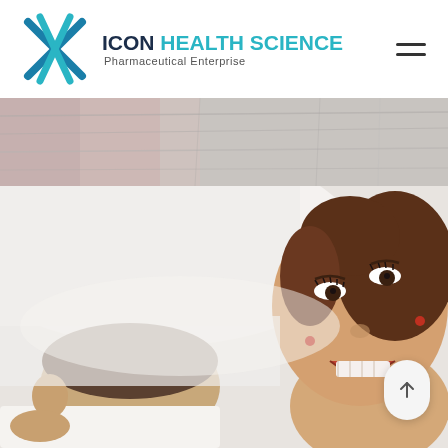[Figure (logo): Icon Health Science Pharmaceutical Enterprise logo with teal/blue X cross graphic and dark blue text]
[Figure (photo): Hamburger menu icon (three horizontal lines) in top right corner]
[Figure (photo): Top banner strip showing a floor or surface with pink and grey tones]
[Figure (photo): Couple lying down on white bedding, woman smiling up at camera, man with head down]